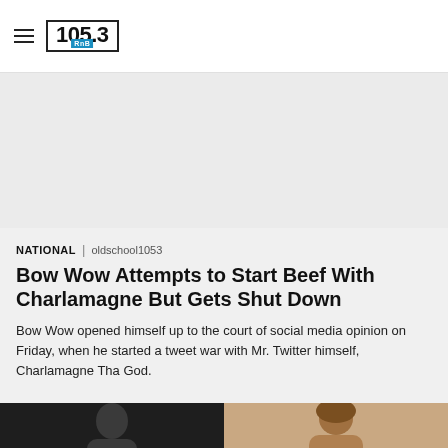105.3 RnB
[Figure (other): Advertisement / banner area, light gray background]
NATIONAL | oldschool1053
Bow Wow Attempts to Start Beef With Charlamagne But Gets Shut Down
Bow Wow opened himself up to the court of social media opinion on Friday, when he started a tweet war with Mr. Twitter himself, Charlamagne Tha God.
[Figure (photo): Partial photo of two people against dark and light backgrounds, cropped at bottom of page]
• • •